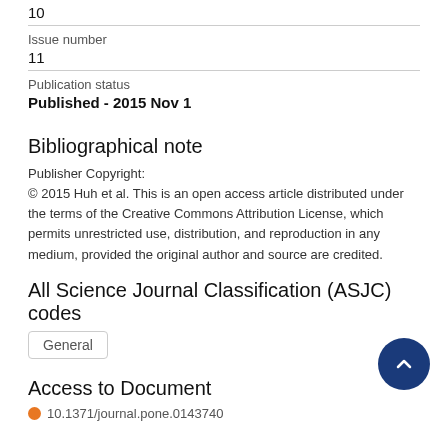10
Issue number
11
Publication status
Published - 2015 Nov 1
Bibliographical note
Publisher Copyright:
© 2015 Huh et al. This is an open access article distributed under the terms of the Creative Commons Attribution License, which permits unrestricted use, distribution, and reproduction in any medium, provided the original author and source are credited.
All Science Journal Classification (ASJC) codes
General
Access to Document